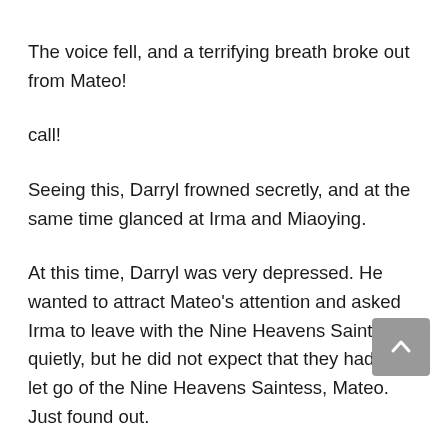The voice fell, and a terrifying breath broke out from Mateo!
call!
Seeing this, Darryl frowned secretly, and at the same time glanced at Irma and Miaoying.
At this time, Darryl was very depressed. He wanted to attract Mateo’s attention and asked Irma to leave with the Nine Heavens Saintess quietly, but he did not expect that they had just let go of the Nine Heavens Saintess, Mateo. Just found out.
Darryl saw that the power of the Saints of